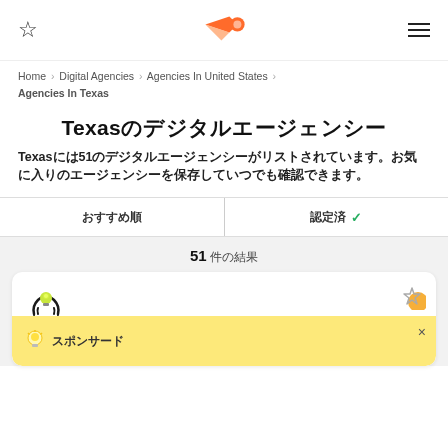★ [logo] ☰
Home > Digital Agencies > Agencies In United States > Agencies In Texas
Texas デジタルエージェンシー
Texasには51のデジタルエージェンシーがリストされています。
おすすめ順 | 認定済み ✓
51 結果
[Figure (screenshot): Agency card with logo (lightbulb/hands icon), star bookmark icon with orange circle, and yellow tooltip popup with bulb icon and Japanese text label]